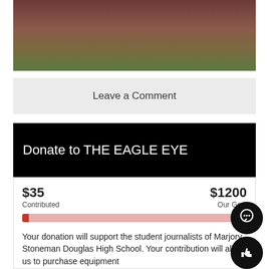[Figure (photo): Partial photo of a person in a dark red/maroon top standing outdoors near plants and greenery]
Leave a Comment
Donate to THE EAGLE EYE
$35 Contributed   $1200 Our Goal
Your donation will support the student journalists of Marjory Stoneman Douglas High School. Your contribution will allow us to purchase equipment